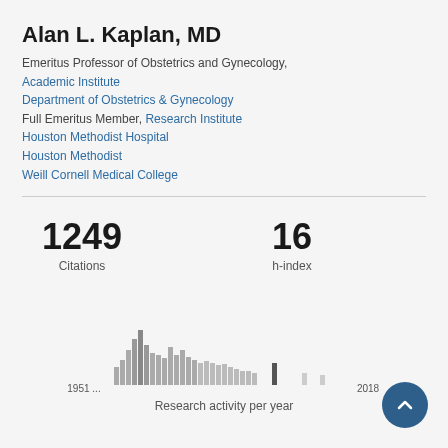Alan L. Kaplan, MD
Emeritus Professor of Obstetrics and Gynecology, Academic Institute
Department of Obstetrics & Gynecology
Full Emeritus Member, Research Institute
Houston Methodist Hospital
Houston Methodist
Weill Cornell Medical College
1249
Citations
16
h-index
[Figure (bar-chart): Research activity per year]